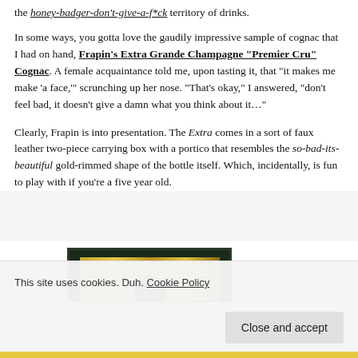the honey-badger-don't-give-a-f*ck territory of drinks.
In some ways, you gotta love the gaudily impressive sample of cognac that I had on hand, Frapin's Extra Grande Champagne “Premier Cru” Cognac. A female acquaintance told me, upon tasting it, that “it makes me make ‘a face,’” scrunching up her nose. “That’s okay,” I answered, “don’t feel bad, it doesn’t give a damn what you think about it...”
Clearly, Frapin is into presentation. The Extra comes in a sort of faux leather two-piece carrying box with a portico that resembles the so-bad-its-beautiful gold-rimmed shape of the bottle itself. Which, incidentally, is fun to play with if you’re a five year old.
[Figure (photo): Partial image of a cognac bottle packaging with dark green/black border and gold bar with circular element visible at bottom.]
This site uses cookies. Duh. Cookie Policy
Close and accept